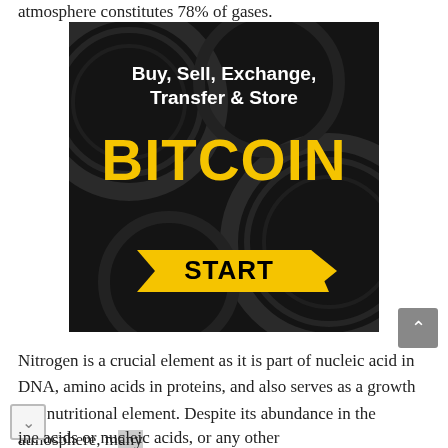atmosphere constitutes 78% of gases.
[Figure (illustration): Bitcoin advertisement banner with dark coin background. Text reads: 'Buy, Sell, Exchange, Transfer & Store BITCOIN' with a yellow START button arrow.]
Nitrogen is a crucial element as it is part of nucleic acid in DNA, amino acids in proteins, and also serves as a growth and nutritional element. Despite its abundance in the atmosphere, many organisms can not use this nitrogen for making ine acids or nucleic acids, or any other